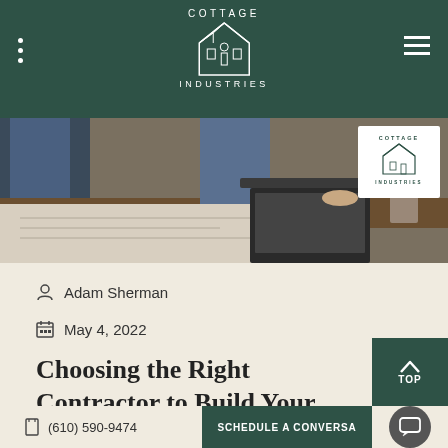Cottage Industries
[Figure (photo): Two people working at a table with blueprints and a laptop, with Cottage Industries logo badge in the top right corner]
Adam Sherman
May 4, 2022
Choosing the Right Contractor to Build Your Home Addition
(610) 590-9474   SCHEDULE A CONVERSATION